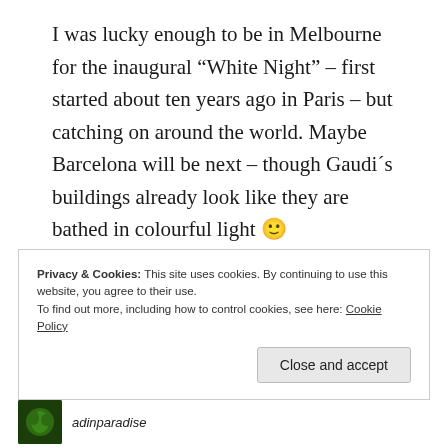I was lucky enough to be in Melbourne for the inaugural “White Night” – first started about ten years ago in Paris – but catching on around the world. Maybe Barcelona will be next – though Gaudi´s buildings already look like they are bathed in colourful light 🙂
You would love White Night, Jess 🙂
Privacy & Cookies: This site uses cookies. By continuing to use this website, you agree to their use.
To find out more, including how to control cookies, see here: Cookie Policy
Close and accept
adinparadise